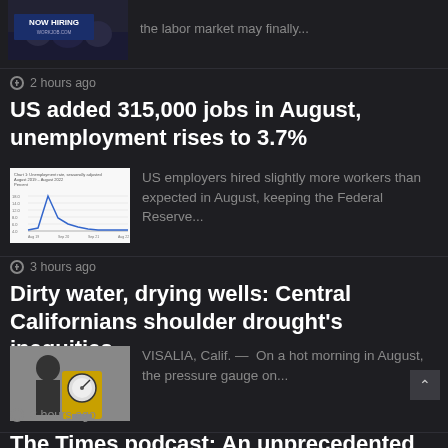[Figure (photo): NOW HIRING banner image with people in background]
the labor market may finally...
2 hours ago
US added 315,000 jobs in August, unemployment rises to 3.7%
[Figure (line-chart): Unemployment rate seasonally adjusted August 2019 - August 2022 line chart showing a spike around 2020 and decline back down]
US employers hired slightly more workers than expected in August, keeping the Federal Reserve...
3 hours ago
Dirty water, drying wells: Central Californians shoulder drought's inequities
[Figure (photo): Pressure gauge on yellow equipment, person silhouette in background]
VISALIA, Calif. — On a hot morning in August, the pressure gauge on...
3 hours ago
The Times podcast: An unprecedented use of